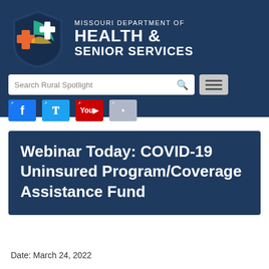[Figure (logo): Missouri Department of Health & Senior Services logo with shield icon and department name]
[Figure (screenshot): Search bar with 'Search Rural Spotlight' placeholder text, magnifying glass icon, and hamburger menu button]
[Figure (screenshot): Social media icons row: Facebook, Twitter, YouTube, and email/web icon with external link arrows]
Webinar Today: COVID-19 Uninsured Program/Coverage Assistance Fund
Date: March 24, 2022